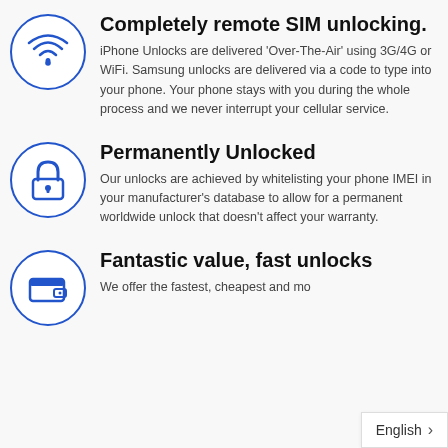[Figure (illustration): Blue WiFi icon inside a circle]
Completely remote SIM unlocking.
iPhone Unlocks are delivered 'Over-The-Air' using 3G/4G or WiFi. Samsung unlocks are delivered via a code to type into your phone. Your phone stays with you during the whole process and we never interrupt your cellular service.
[Figure (illustration): Blue padlock icon inside a circle]
Permanently Unlocked
Our unlocks are achieved by whitelisting your phone IMEI in your manufacturer's database to allow for a permanent worldwide unlock that doesn't affect your warranty.
[Figure (illustration): Blue wallet icon inside a circle]
Fantastic value, fast unlocks
We offer the fastest, cheapest and mo
English >